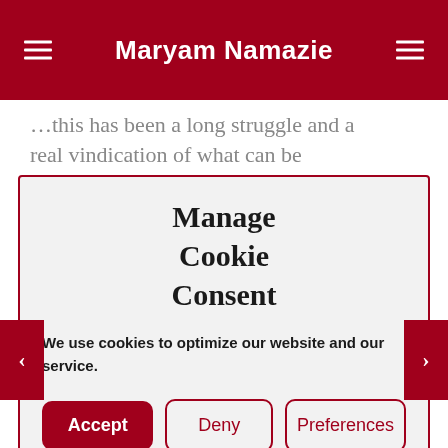Maryam Namazie
…this has been a long struggle and a real vindication of what can be
Manage Cookie Consent
We use cookies to optimize our website and our service.
Iranian queer asylum seekers in the UK as soon as possible because being refugee is unbelievable difficult.
IRQR, an international organization t…